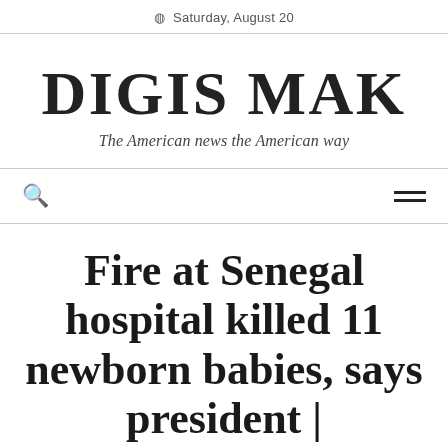Saturday, August 20
DIGIS MAK
The American news the American way
🔍 ≡
Fire at Senegal hospital killed 11 newborn babies, says president |